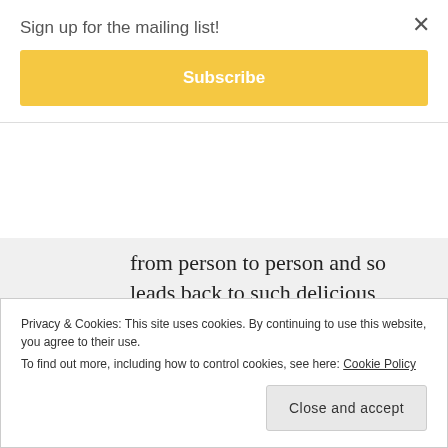Sign up for the mailing list!
Subscribe
from person to person and so leads back to such delicious subjectivity that scientists usually try to avoid!
These holidays actually look like they'll be a time for tomes – I've already lined up T.E. Lawrence's
Privacy & Cookies: This site uses cookies. By continuing to use this website, you agree to their use. To find out more, including how to control cookies, see here: Cookie Policy
Close and accept
latest Bir This episode has at last
×